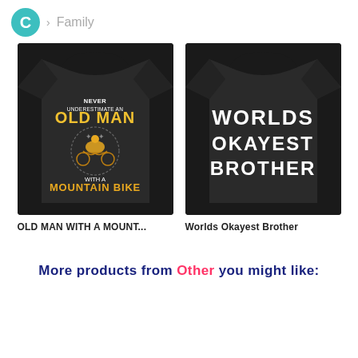C > Family
[Figure (photo): Black t-shirt with text 'NEVER UNDERESTIMATE AN OLD MAN WITH A MOUNTAIN BIKE' and golden mountain bike graphic on back]
OLD MAN WITH A MOUNT...
[Figure (photo): Black t-shirt with text 'WORLDS OKAYEST BROTHER' in white block letters on back]
Worlds Okayest Brother
More products from Other you might like: